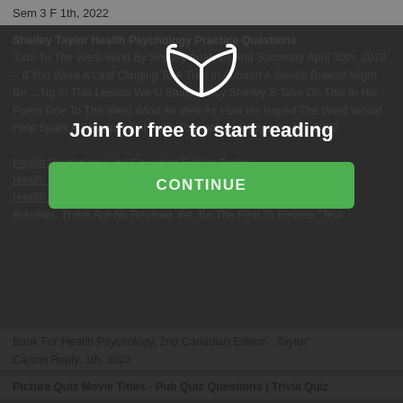Sem 3 F 1th, 2022
Shelley Taylor Health Psychology Practice Questions 'Ode To The West Wind By Shelley Analysis And Summary April 30th, 2018 – If You Were A Leaf Clinging To A Tree In Autumn A Gentle Breeze Might Be …Ng In This Lesson We U Study Percy Shelley S Take On This In His Poem Ode To The West Wind As Well As How He Hoped The Wind Would Help Spark A Revolution . Health Psychology Wikipedia 4th, 2022
[Figure (illustration): Open book icon in white outline style]
Join for free to start reading
CONTINUE
Health Psychology 2nd Canadian Edition Taylor Health Psychology 2nd Canadian Edition Taylor Test Bank For Health Psychology, 2nd Canadian Edition : Taylor Download Reviews: There Are No Reviews Yet. Be The First To Review "Test Bank For Health Psychology, 2nd Canadian Edition : Taylor" Cancel Reply. 1th, 2022
Picture Quiz Movie Titles - Pub Quiz Questions | Trivia Quiz